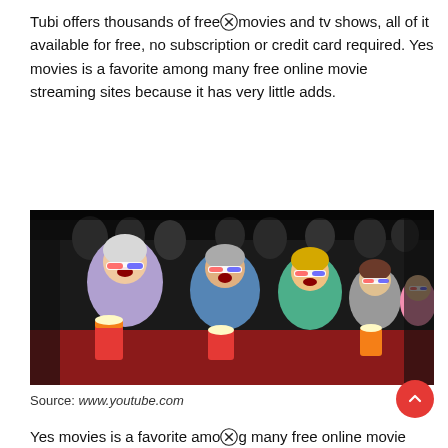Tubi offers thousands of free⊗movies and tv shows, all of it available for free, no subscription or credit card required. Yes movies is a favorite among many free online movie streaming sites because it has very little adds.
[Figure (photo): People in a cinema wearing 3D glasses, looking up with open mouths in amazement, holding popcorn buckets. Audience sits in red reclining seats in a darkened theater.]
Source: www.youtube.com
Yes movies is a favorite among many free online movie